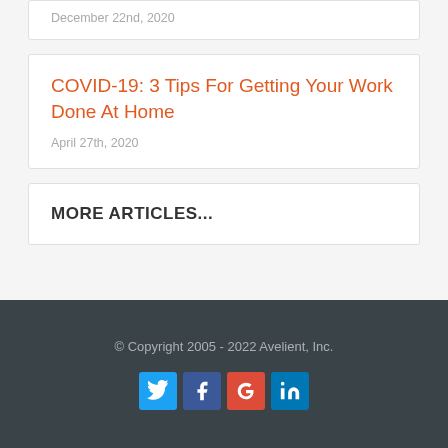December 22nd, 2020
COVID-19: 3 Tips For Getting Your Work Done At Home
April 27th, 2020
MORE ARTICLES...
© Copyright 2005 - 2022 Avelient, Inc.